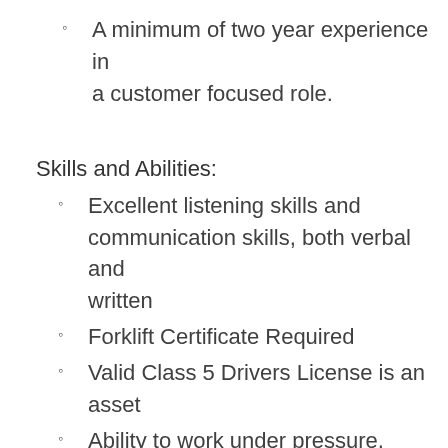A minimum of two year experience in a customer focused role.
Skills and Abilities:
Excellent listening skills and communication skills, both verbal and written
Forklift Certificate Required
Valid Class 5 Drivers License is an asset
Ability to work under pressure, while maintaining a professional image at all times
Work independently with little direct